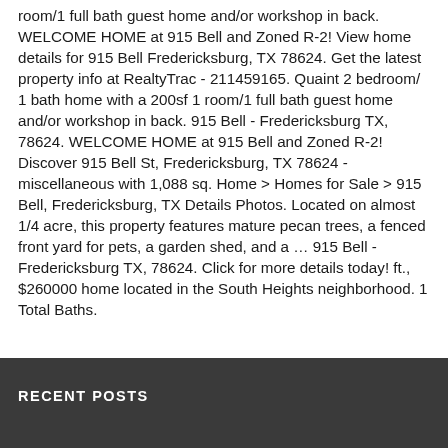room/1 full bath guest home and/or workshop in back. WELCOME HOME at 915 Bell and Zoned R-2! View home details for 915 Bell Fredericksburg, TX 78624. Get the latest property info at RealtyTrac - 211459165. Quaint 2 bedroom/ 1 bath home with a 200sf 1 room/1 full bath guest home and/or workshop in back. 915 Bell - Fredericksburg TX, 78624. WELCOME HOME at 915 Bell and Zoned R-2! Discover 915 Bell St, Fredericksburg, TX 78624 - miscellaneous with 1,088 sq. Home > Homes for Sale > 915 Bell, Fredericksburg, TX Details Photos. Located on almost 1/4 acre, this property features mature pecan trees, a fenced front yard for pets, a garden shed, and a … 915 Bell - Fredericksburg TX, 78624. Click for more details today! ft., $260000 home located in the South Heights neighborhood. 1 Total Baths.
RECENT POSTS